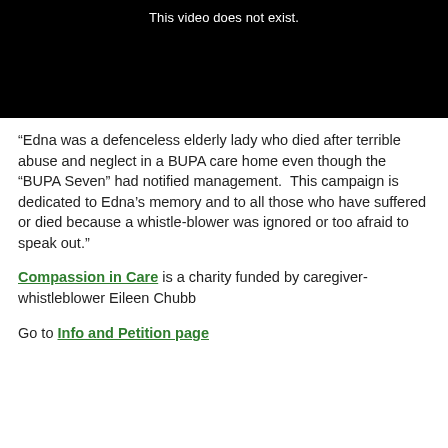[Figure (screenshot): Black video player placeholder with white text reading 'This video does not exist.']
“Edna was a defenceless elderly lady who died after terrible abuse and neglect in a BUPA care home even though the “BUPA Seven” had notified management.  This campaign is dedicated to Edna’s memory and to all those who have suffered or died because a whistle-blower was ignored or too afraid to speak out.”
Compassion in Care is a charity funded by caregiver-whistleblower Eileen Chubb
Go to Info and Petition page